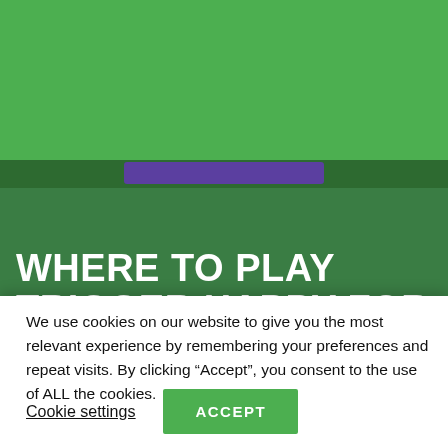Casinos Jungle — navigation header with logo and hamburger menu
WHERE TO PLAY TRIGGER HAPPY FOR REAL
[Figure (logo): Casinos Jungle logo partially visible at the bottom of the green section]
We use cookies on our website to give you the most relevant experience by remembering your preferences and repeat visits. By clicking “Accept”, you consent to the use of ALL the cookies.
Cookie settings
ACCEPT